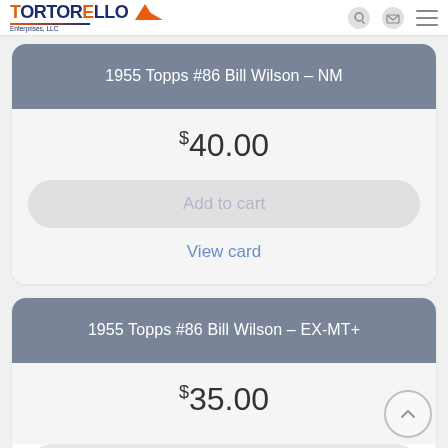Tortorello Enterprises, LLC
1955 Topps #86 Bill Wilson – NM
$40.00
Add to cart
View card
1955 Topps #86 Bill Wilson – EX-MT+
$35.00
Add to cart